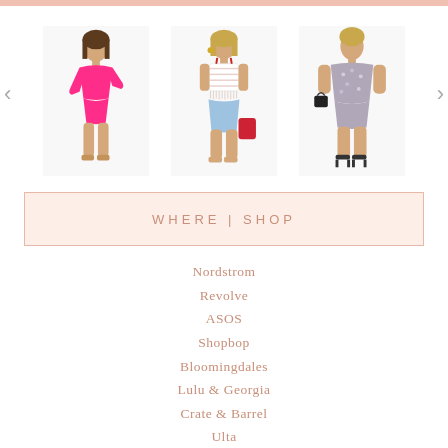[Figure (photo): Fashion carousel showing three female models wearing summer outfits: left model in hot pink romper, center model in white striped crop top with denim shorts, right model in grey floral off-shoulder romper. Left and right navigation arrows visible.]
WHERE I SHOP
Nordstrom
Revolve
ASOS
Shopbop
Bloomingdales
Lulu & Georgia
Crate & Barrel
Ulta
Show Me Your MuMu
Pottery Barn
Zappos